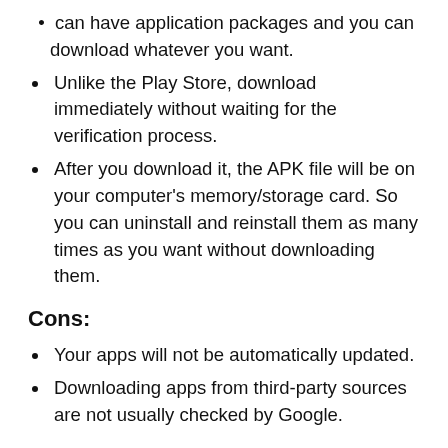can have application packages and you can download whatever you want.
Unlike the Play Store, download immediately without waiting for the verification process.
After you download it, the APK file will be on your computer's memory/storage card. So you can uninstall and reinstall them as many times as you want without downloading them.
Cons:
Your apps will not be automatically updated.
Downloading apps from third-party sources are not usually checked by Google.
How would I